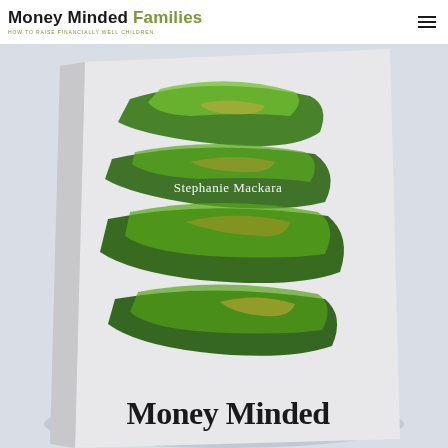Money Minded Families — HOW TO RAISE FINANCIALLY WELL CHILDREN
[Figure (photo): Book cover of 'Money Minded' by Stephanie Mackara, showing a light gray book with bold green paintbrush strokes and gold accents. The author name 'Stephanie Mackara' appears in white text on the cover, and 'Money Minded' is printed in large dark text at the bottom of the cover.]